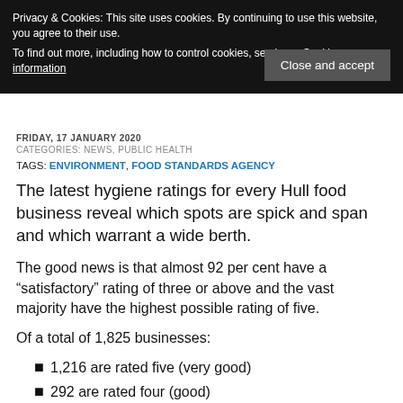Privacy & Cookies: This site uses cookies. By continuing to use this website, you agree to their use. To find out more, including how to control cookies, see here: Cookie information
Close and accept
FRIDAY, 17 JANUARY 2020
CATEGORIES: NEWS, PUBLIC HEALTH
TAGS: ENVIRONMENT, FOOD STANDARDS AGENCY
The latest hygiene ratings for every Hull food business reveal which spots are spick and span and which warrant a wide berth.
The good news is that almost 92 per cent have a "satisfactory" rating of three or above and the vast majority have the highest possible rating of five.
Of a total of 1,825 businesses:
1,216 are rated five (very good)
292 are rated four (good)